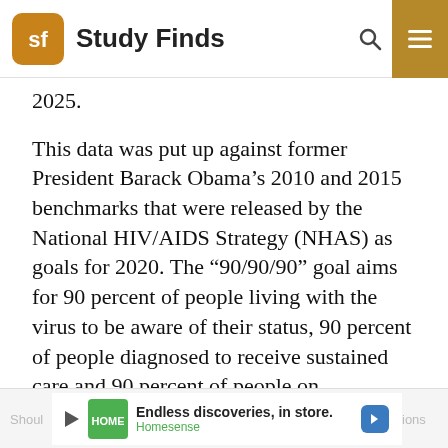Study Finds
2025.
This data was put up against former President Barack Obama’s 2010 and 2015 benchmarks that were released by the National HIV/AIDS Strategy (NHAS) as goals for 2020. The “90/90/90” goal aims for 90 percent of people living with the virus to be aware of their status, 90 percent of people diagnosed to receive sustained care and 90 percent of people on antiretroviral therapy (ART) to achieve a minute level of the virus in their blood. The researchers say an updated “95/95/95” goal by 2025 can be achieved.
Shoul… ions